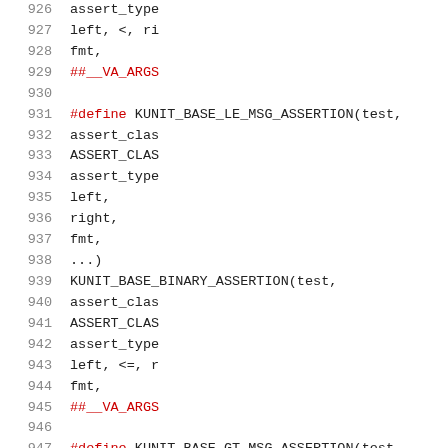Source code listing lines 926-947, C preprocessor macros for KUnit assertions
926     assert_type
927     left, <, ri
928     fmt,
929     ##__VA_ARGS
930
931 #define KUNIT_BASE_LE_MSG_ASSERTION(test,
932     assert_clas
933     ASSERT_CLAS
934     assert_type
935     left,
936     right,
937     fmt,
938     ...)
939     KUNIT_BASE_BINARY_ASSERTION(test,
940     assert_clas
941     ASSERT_CLAS
942     assert_type
943     left, <=, r
944     fmt,
945     ##__VA_ARGS
946
947 #define KUNIT_BASE_GT_MSG_ASSERTION(test,